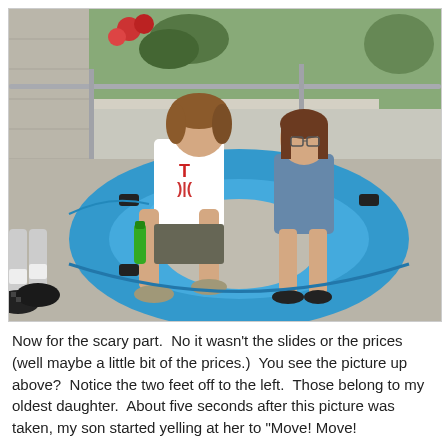[Figure (photo): Two children sitting in a large blue inflatable water park tube on a concrete surface. A boy in a white t-shirt holds a green bottle and a girl with glasses sits beside him. A third person's legs with black sneakers are visible on the left edge. Metal railing and a mural/garden scene are visible in the background.]
Now for the scary part. No it wasn't the slides or the prices (well maybe a little bit of the prices.) You see the picture up above? Notice the two feet off to the left. Those belong to my oldest daughter. About five seconds after this picture was taken, my son started yelling at her to "Move! Move!